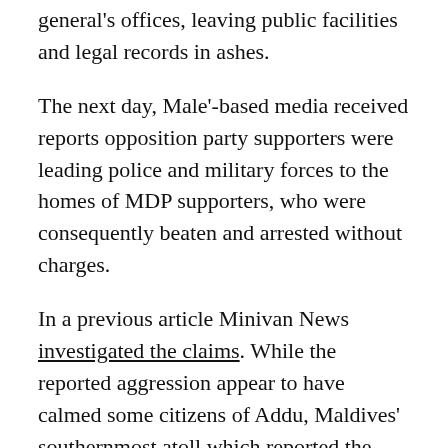general's offices, leaving public facilities and legal records in ashes.
The next day, Male'-based media received reports opposition party supporters were leading police and military forces to the homes of MDP supporters, who were consequently beaten and arrested without charges.
In a previous article Minivan News investigated the claims. While the reported aggression appear to have calmed some citizens of Addu, Maldives' southernmost atoll which reported the most severe damage, expressed concern that the quiet was temporary.
“We are not safe because we don’t know when again it will start,” said one man speaking to Minivan News outside Feydhoo’s smoldering court house.